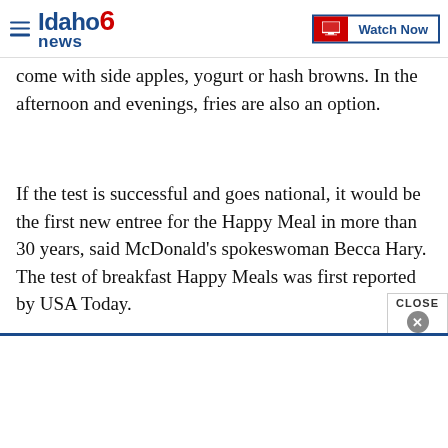Idaho News 6 — Watch Now
come with side apples, yogurt or hash browns. In the afternoon and evenings, fries are also an option.
If the test is successful and goes national, it would be the first new entree for the Happy Meal in more than 30 years, said McDonald's spokeswoman Becca Hary. The test of breakfast Happy Meals was first reported by USA Today.
Copyright 2016 The Associated Press. All rights reserved. This material may not be published, broadcast, rewritten or redistributed.